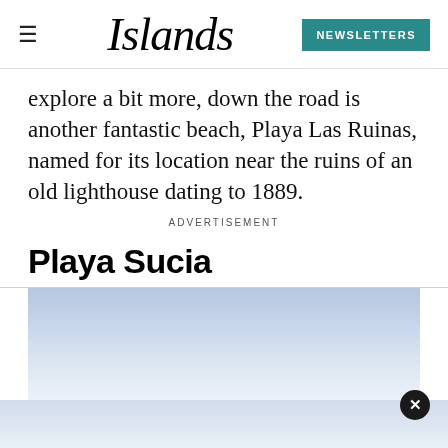Islands — NEWSLETTERS
explore a bit more, down the road is another fantastic beach, Playa Las Ruinas, named for its location near the ruins of an old lighthouse dating to 1889.
ADVERTISEMENT
Playa Sucia
[Figure (photo): A beach photo showing a sky with light blue and purple tones over calm water, partially cut off at the bottom of the page. A close button (X) is visible in the lower right area of the image.]